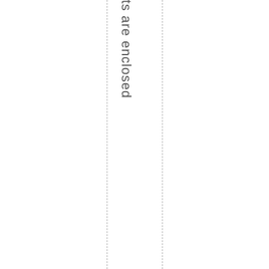udents – Comments are enclosed